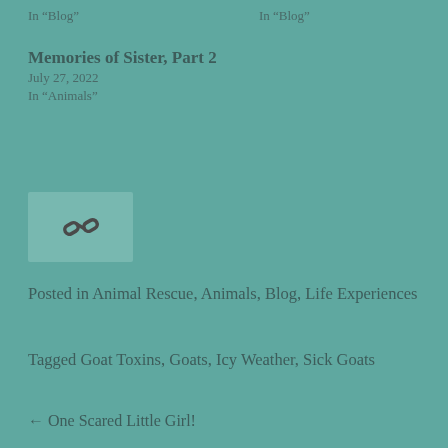In “Blog”
In “Blog”
Memories of Sister, Part 2
July 27, 2022
In “Animals”
[Figure (other): Link icon (chain links symbol) on a slightly lighter teal background rectangle]
Posted in Animal Rescue, Animals, Blog, Life Experiences
Tagged Goat Toxins, Goats, Icy Weather, Sick Goats
← One Scared Little Girl!